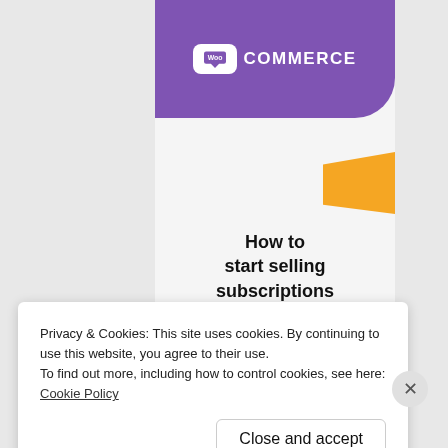[Figure (logo): WooCommerce promotional card with purple header containing WooCommerce logo, orange decorative shape, title text, and a purple 'Start a new store' button on a light gray background]
How to start selling subscriptions online
Start a new store
Privacy & Cookies: This site uses cookies. By continuing to use this website, you agree to their use.
To find out more, including how to control cookies, see here: Cookie Policy
Close and accept